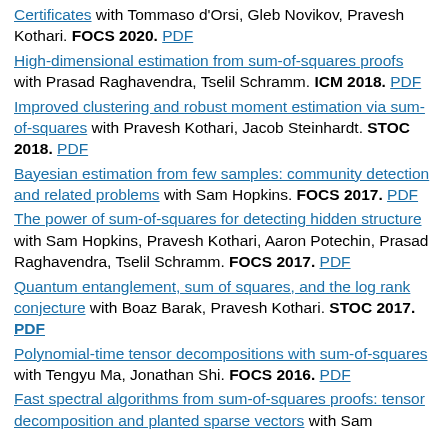Certificates with Tommaso d'Orsi, Gleb Novikov, Pravesh Kothari. FOCS 2020. PDF
High-dimensional estimation from sum-of-squares proofs with Prasad Raghavendra, Tselil Schramm. ICM 2018. PDF
Improved clustering and robust moment estimation via sum-of-squares with Pravesh Kothari, Jacob Steinhardt. STOC 2018. PDF
Bayesian estimation from few samples: community detection and related problems with Sam Hopkins. FOCS 2017. PDF
The power of sum-of-squares for detecting hidden structure with Sam Hopkins, Pravesh Kothari, Aaron Potechin, Prasad Raghavendra, Tselil Schramm. FOCS 2017. PDF
Quantum entanglement, sum of squares, and the log rank conjecture with Boaz Barak, Pravesh Kothari. STOC 2017. PDF
Polynomial-time tensor decompositions with sum-of-squares with Tengyu Ma, Jonathan Shi. FOCS 2016. PDF
Fast spectral algorithms from sum-of-squares proofs: tensor decomposition and planted sparse vectors with Sam